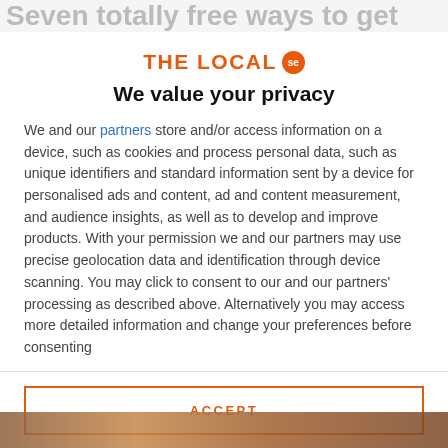Seven totally free ways to get
[Figure (logo): The Local SE logo — orange text 'THE LOCAL' with orange circle badge containing 'se']
We value your privacy
We and our partners store and/or access information on a device, such as cookies and process personal data, such as unique identifiers and standard information sent by a device for personalised ads and content, ad and content measurement, and audience insights, as well as to develop and improve products. With your permission we and our partners may use precise geolocation data and identification through device scanning. You may click to consent to our and our partners' processing as described above. Alternatively you may access more detailed information and change your preferences before consenting
ACCEPT
MORE OPTIONS
[Figure (photo): Partial photo visible at the bottom of the page, appears to show people outdoors]